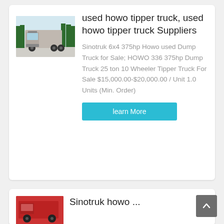[Figure (photo): Front view of a silver/grey HOWO tipper truck on a road with trees in background]
used howo tipper truck, used howo tipper truck Suppliers
Sinotruk 6x4 375hp Howo used Dump Truck for Sale; HOWO 336 375hp Dump Truck 25 ton 10 Wheeler Tipper Truck For Sale $15,000.00-$20,000.00 / Unit 1.0 Units (Min. Order)
learn More
[Figure (photo): Partial view of a red tipper truck, cropped at bottom of page]